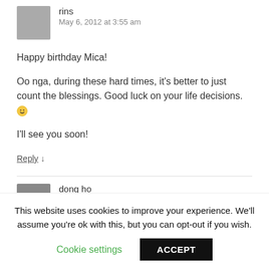rins
May 6, 2012 at 3:55 am
Happy birthday Mica!
Oo nga, during these hard times, it's better to just count the blessings. Good luck on your life decisions. 🙂
I'll see you soon!
Reply ↓
dong ho
This website uses cookies to improve your experience. We'll assume you're ok with this, but you can opt-out if you wish.
Cookie settings
ACCEPT